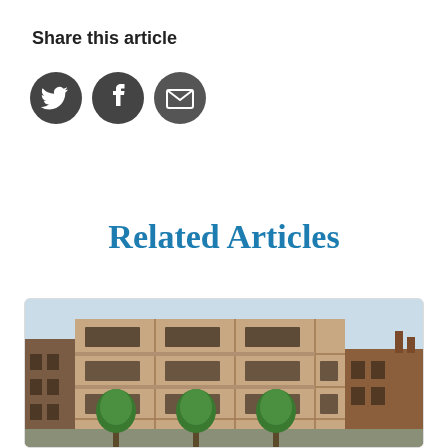Share this article
[Figure (illustration): Three social media share icons: Twitter (bird), Facebook (f), and Email (envelope), displayed as white icons on dark grey circular backgrounds]
Related Articles
[Figure (photo): Architectural rendering of a modern multi-storey residential building with brick facade, balconies, and large windows, with trees in the foreground and adjacent older buildings on either side]